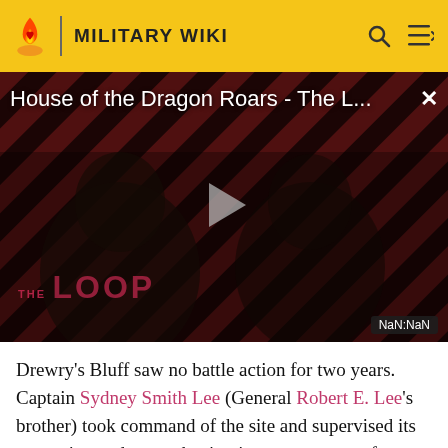MILITARY WIKI
[Figure (screenshot): Video thumbnail for 'House of the Dragon Roars - The L...' showing two people in dark lighting with 'THE LOOP' watermark, a play button in the center, and 'NaN:NaN' time display in bottom right corner.]
Drewry's Bluff saw no battle action for two years. Captain Sydney Smith Lee (General Robert E. Lee's brother) took command of the site and supervised its expansion and strengthening into a permanent fort. While some workers constructed an outer line of entrenchments to protect the